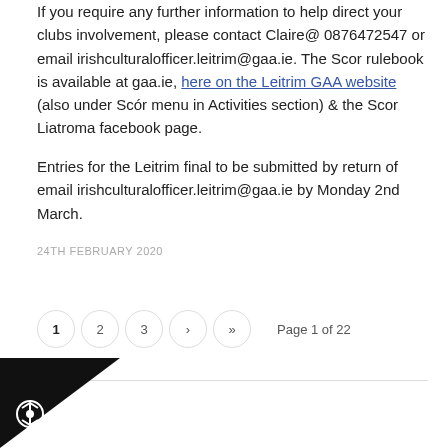If you require any further information to help direct your clubs involvement, please contact Claire@ 0876472547 or email irishculturalofficer.leitrim@gaa.ie. The Scor rulebook is available at gaa.ie, here on the Leitrim GAA website (also under Scór menu in Activities section) & the Scor Liatroma facebook page.
Entries for the Leitrim final to be submitted by return of email irishculturalofficer.leitrim@gaa.ie by Monday 2nd March.
24TH FEBRUARY 2020
Page 1 of 22